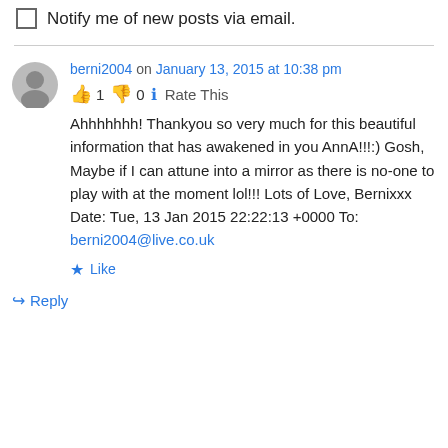Notify me of new posts via email.
berni2004 on January 13, 2015 at 10:38 pm
👍 1 👎 0 ℹ Rate This
Ahhhhhhh! Thankyou so very much for this beautiful information that has awakened in you AnnA!!!:) Gosh, Maybe if I can attune into a mirror as there is no-one to play with at the moment lol!!! Lots of Love, Bernixxx Date: Tue, 13 Jan 2015 22:22:13 +0000 To: berni2004@live.co.uk
★ Like
↪ Reply